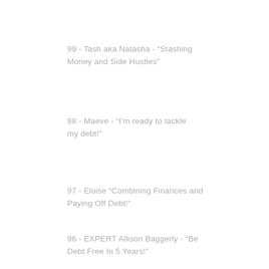99 - Tash aka Natasha - “Stashing Money and Side Hustles”
98 - Maeve - “I’m ready to tackle my debt!”
97 - Eloise “Combining Finances and Paying Off Debt!”
96 - EXPERT Allison Baggerly - “Be Debt Free In 5 Years!”